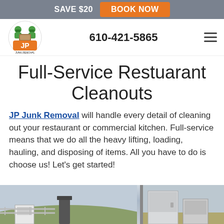SAVE $20  BOOK NOW
[Figure (logo): JP Junk Removal logo with cartoon characters and orange JP letters]
610-421-5865
Full-Service Restuarant Cleanouts
JP Junk Removal will handle every detail of cleaning out your restaurant or commercial kitchen. Full-service means that we do all the heavy lifting, loading, hauling, and disposing of items. All you have to do is choose us! Let's get started!
[Figure (photo): Two photos showing junk removal items including appliances and metal equipment outdoors]